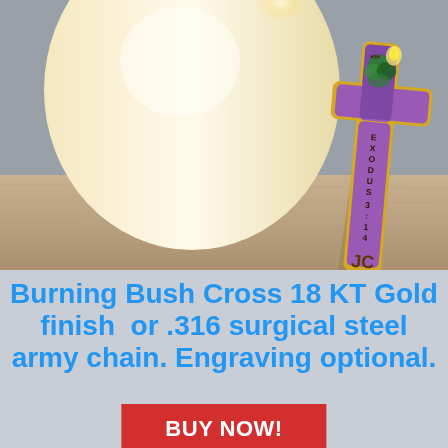[Figure (photo): A gold cross pendant with purple enamel and a burning bush scene. The cross has Hebrew text at the top, 'EXODUS 3:14' written vertically on the vertical arm, and 'JC' engraved at the bottom. It leans against a lit candle on a wooden surface.]
Burning Bush Cross 18 KT Gold finish  or .316 surgical steel army chain. Engraving optional.
BUY NOW!